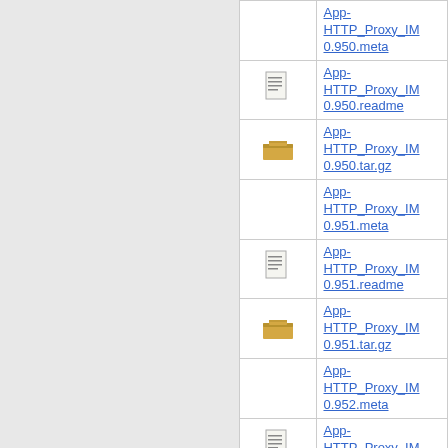| icon | filename |
| --- | --- |
|  | App-HTTP_Proxy_IM 0.950.meta |
| doc-icon | App-HTTP_Proxy_IM 0.950.readme |
| box-icon | App-HTTP_Proxy_IM 0.950.tar.gz |
|  | App-HTTP_Proxy_IM 0.951.meta |
| doc-icon | App-HTTP_Proxy_IM 0.951.readme |
| box-icon | App-HTTP_Proxy_IM 0.951.tar.gz |
|  | App-HTTP_Proxy_IM 0.952.meta |
| doc-icon | App-HTTP_Proxy_IM 0.952.readme |